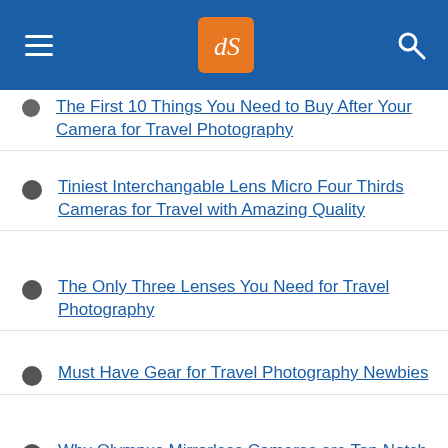dPS navigation header
The First 10 Things You Need to Buy After Your Camera for Travel Photography
Tiniest Interchangable Lens Micro Four Thirds Cameras for Travel with Amazing Quality
The Only Three Lenses You Need for Travel Photography
Must Have Gear for Travel Photography Newbies
Why Olympus Mirrorless Cameras are Top Notch for Travel Photography
The Best Travel Photography Lenses: Our Top 12 Picks